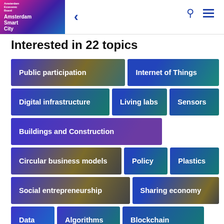Amsterdam Smart City — navigation header with back arrow, search and menu icons
Interested in 22 topics
Public participation
Internet of Things
Digital infrastructure
Living labs
Sensors
Buildings and Construction
Circular business models
Policy
Plastics
Social entrepreneurship
Sharing economy
Data
Algorithms
Blockchain
Business models
Drones
Ethics & Privacy